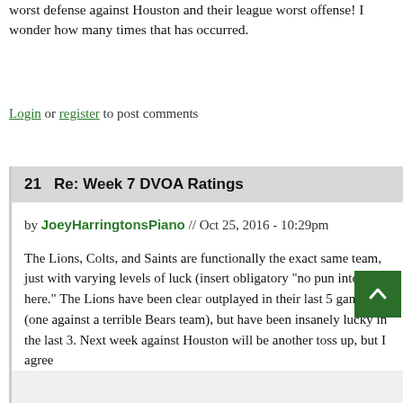worst defense against Houston and their league worst offense! I wonder how many times that has occurred.
Login or register to post comments
21   Re: Week 7 DVOA Ratings
by JoeyHarringtonsPiano // Oct 25, 2016 - 10:29pm
The Lions, Colts, and Saints are functionally the exact same team, just with varying levels of luck (insert obligatory "no pun intended here." The Lions have been clearly outplayed in their last 5 games (one against a terrible Bears team), but have been insanely lucky in the last 3. Next week against Houston will be another toss up, but I agree